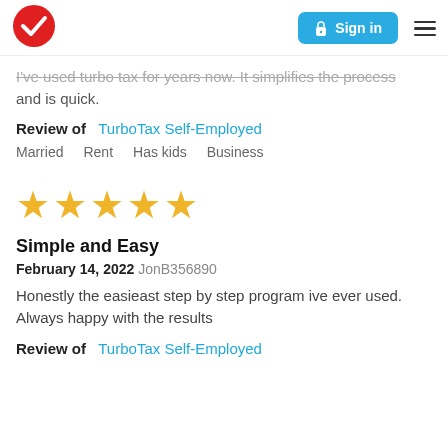Sign in
I've used turbo tax for years now. It simplifies the process and is quick.
Review of   TurboTax Self-Employed
Married   Rent   Has kids   Business
[Figure (other): Five yellow star rating]
Simple and Easy
February 14, 2022 JonB356890
Honestly the easieast step by step program ive ever used. Always happy with the results
Review of   TurboTax Self-Employed